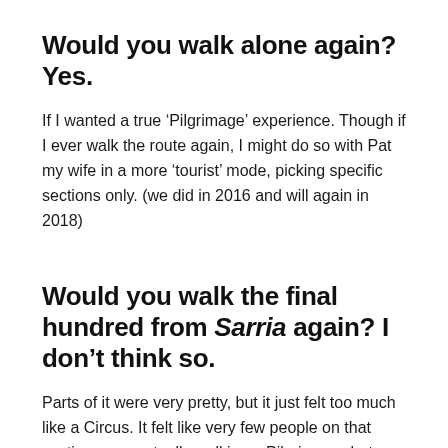Would you walk alone again? Yes.
If I wanted a true ‘Pilgrimage’ experience. Though if I ever walk the route again, I might do so with Pat my wife in a more ‘tourist’ mode, picking specific sections only. (we did in 2016 and will again in 2018)
Would you walk the final hundred from Sarria again? I don’t think so.
Parts of it were very pretty, but it just felt too much like a Circus. It felt like very few people on that section were actually walking a Pilgrimage, but were rather using the ‘route’ as a convenient hiking or cycling